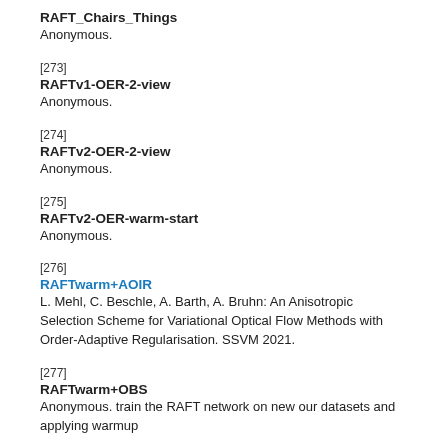RAFT_Chairs_Things
Anonymous.
[273]
RAFTv1-OER-2-view
Anonymous.
[274]
RAFTv2-OER-2-view
Anonymous.
[275]
RAFTv2-OER-warm-start
Anonymous.
[276]
RAFTwarm+AOIR
L. Mehl, C. Beschle, A. Barth, A. Bruhn: An Anisotropic Selection Scheme for Variational Optical Flow Methods with Order-Adaptive Regularisation. SSVM 2021.
[277]
RAFTwarm+OBS
Anonymous. train the RAFT network on new our datasets and applying warmup